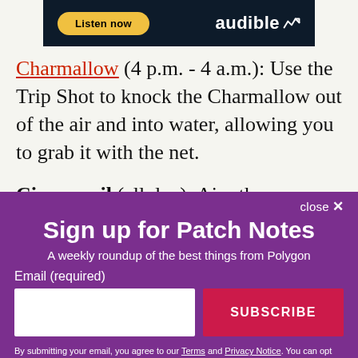[Figure (other): Audible advertisement banner with 'Listen now' yellow button and Audible logo on dark navy background]
Charmallow (4 p.m. - 4 a.m.): Use the Trip Shot to knock the Charmallow out of the air and into water, allowing you to grab it with the net.
Cinnasnail (all day): Aim the Lunchpad at the
close ✕
Sign up for Patch Notes
A weekly roundup of the best things from Polygon
Email (required)
SUBSCRIBE
By submitting your email, you agree to our Terms and Privacy Notice. You can opt out at any time. This site is protected by reCAPTCHA and the Google Privacy Policy and Terms of Service apply.